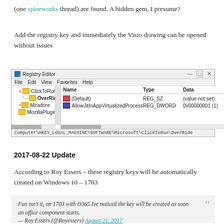(one spiceworks thread) are found. A hidden gem, I presume?
Add the registry key and immediately the Visio drawing can be opened without issues
[Figure (screenshot): Windows Registry Editor showing Computer\HKEY_LOCAL_MACHINE\SOFTWARE\Microsoft\ClickToRun\OverRide with AllowJitInAppVirtualizedProcess REG_DWORD 0x00000001 (1)]
2017-08-22 Update
According to Roy Essers – these registry keys will be automatically created on Windows 10 – 1703
Fun isn't it, on 1703 with O365 Ive noticed the key will be created as soon an office component starts.
— Roy Essers (@Royessers) August 21, 2017